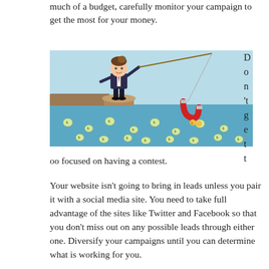much of a budget, carefully monitor your campaign to get the most for your money.
[Figure (illustration): Cartoon businessman standing on a cliff fishing with a magnet, attracting money bags from the water below.]
Don't get too focused on having a contest.
Your website isn't going to bring in leads unless you pair it with a social media site. You need to take full advantage of the sites like Twitter and Facebook so that you don't miss out on any possible leads through either one. Diversify your campaigns until you can determine what is working for you.